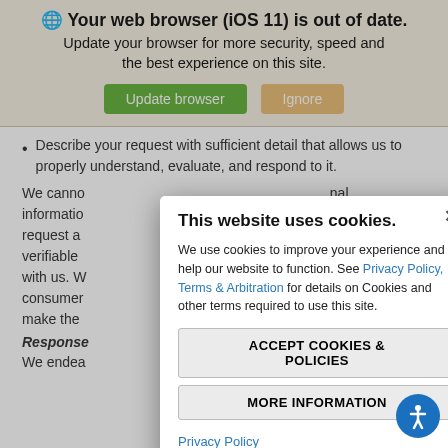🌐 Your web browser (iOS 11) is out of date.
Update your browser for more security, speed and the best experience on this site.
Describe your request with sufficient detail that allows us to properly understand, evaluate, and respond to it.
We cannot process requests for personal information if we cannot make the request and... Making a verifiable... account with us. W... verifiable consumer... y to make the...
Response...
We endea... hin 45
[Figure (screenshot): Cookie consent modal dialog. Title: 'This website uses cookies.' Body: 'We use cookies to improve your experience and help our website to function. See Privacy Policy, Terms & Arbitration for details on Cookies and other terms required to use this site.' Buttons: 'ACCEPT COOKIES & POLICIES' and 'MORE INFORMATION'. Footer link: 'Privacy Policy'.]